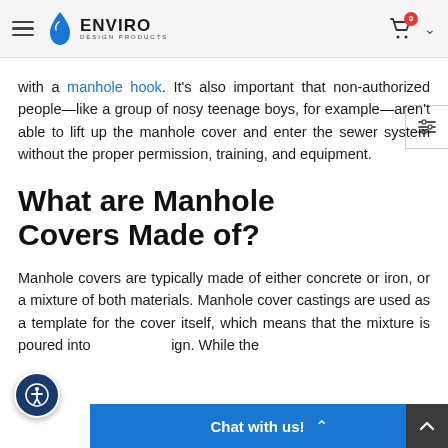Enviro Design Products
with a manhole hook. It's also important that non-authorized people—like a group of nosy teenage boys, for example—aren't able to lift up the manhole cover and enter the sewer system without the proper permission, training, and equipment.
What are Manhole Covers Made of?
Manhole covers are typically made of either concrete or iron, or a mixture of both materials. Manhole cover castings are used as a template for the cover itself, which means that the mixture is poured into ign. While the